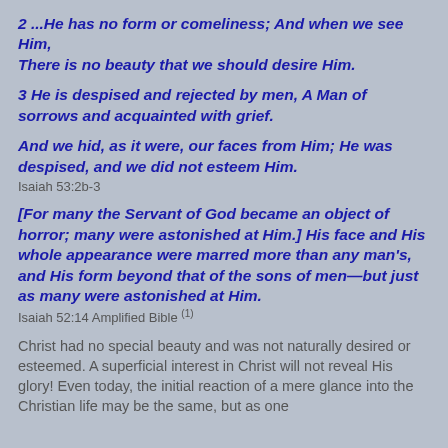2 ...He has no form or comeliness; And when we see Him,
There is no beauty that we should desire Him.
3 He is despised and rejected by men, A Man of sorrows and acquainted with grief.
And we hid, as it were, our faces from Him; He was despised, and we did not esteem Him.
Isaiah 53:2b-3
[For many the Servant of God became an object of horror; many were astonished at Him.] His face and His whole appearance were marred more than any man's, and His form beyond that of the sons of men—but just as many were astonished at Him.
Isaiah 52:14 Amplified Bible (1)
Christ had no special beauty and was not naturally desired or esteemed. A superficial interest in Christ will not reveal His glory! Even today, the initial reaction of a mere glance into the Christian life may be the same, but as one…